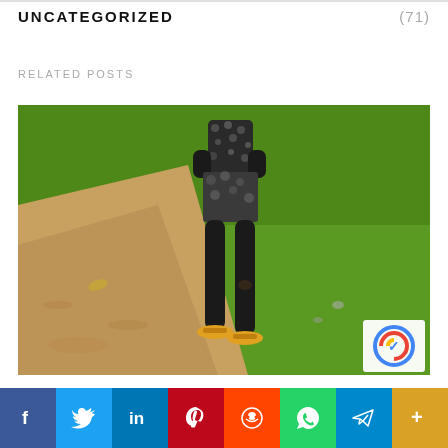UNCATEGORIZED
(71)
RELATED POSTS
[Figure (photo): A person standing on a dirt path next to green grass, wearing patterned shorts and sandals, body visible from waist down with arms crossed at chest level.]
f  Twitter  in  Pinterest  Reddit  WhatsApp  Telegram  +